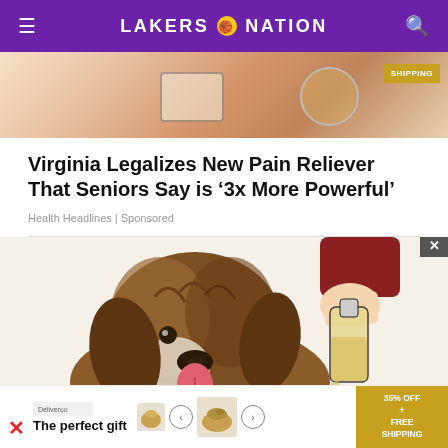LAKERS NATION
[Figure (photo): Top advertisement banner showing a hand and product, with 'SHIPPING' badge in gold]
Virginia Legalizes New Pain Reliever That Seniors Say is ‘3x More Powerful’
Health Headlines | Sponsored
[Figure (illustration): Illustration of a brown fluffy dog (labradoodle/poodle mix) with tongue out, looking at a hand pouring liquid from a bottle into a bowl]
[Figure (photo): Bottom advertisement banner: 'The perfect gift' with food product images, arrows, and '35% OFF + FREE SHIPPING' gold badge]